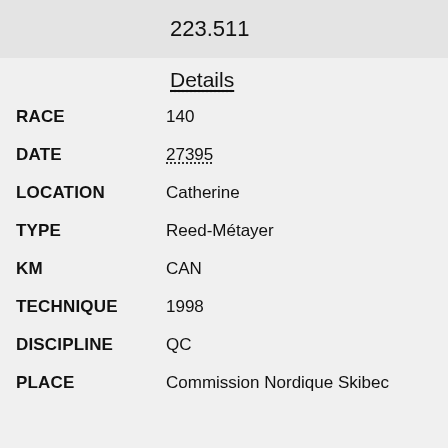223.511
Details
RACE: 140
DATE: 27395
LOCATION: Catherine
TYPE: Reed-Métayer
KM: CAN
TECHNIQUE: 1998
DISCIPLINE: QC
PLACE: Commission Nordique Skibec